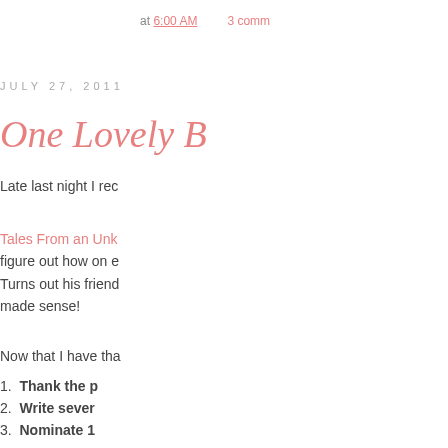at 6:00 AM   3 comm...
JULY 27, 2011
One Lovely ...
Late last night I rec...
Tales From an Unk... figure out how on e... Turns out his friend... made sense!
Now that I have tha...
1. Thank the p...
2. Write sever...
3. Nominate 1...